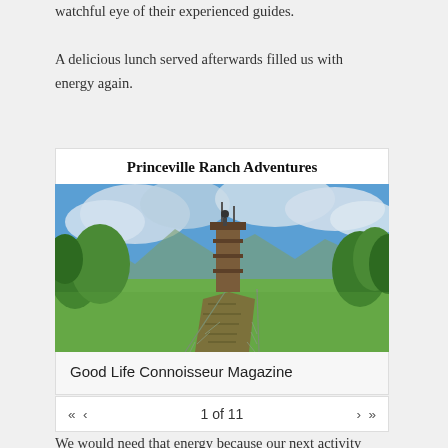watchful eye of their experienced guides. A delicious lunch served afterwards filled us with energy again.
Princeville Ranch Adventures
[Figure (photo): Outdoor rope bridge or suspended walkway leading up to a tall wooden tower structure, surrounded by green grass and trees with a cloudy blue sky background, taken at Princeville Ranch Adventures.]
Good Life Connoisseur Magazine
1 of 11
We would need that energy because our next activity was to go horseback riding